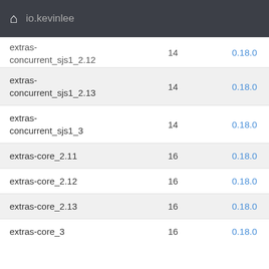io.kevinlee
|  |  |  |
| --- | --- | --- |
| extras-concurrent_sjs1_2.12 | 14 | 0.18.0 |
| extras-concurrent_sjs1_2.13 | 14 | 0.18.0 |
| extras-concurrent_sjs1_3 | 14 | 0.18.0 |
| extras-core_2.11 | 16 | 0.18.0 |
| extras-core_2.12 | 16 | 0.18.0 |
| extras-core_2.13 | 16 | 0.18.0 |
| extras-core_3 | 16 | 0.18.0 |